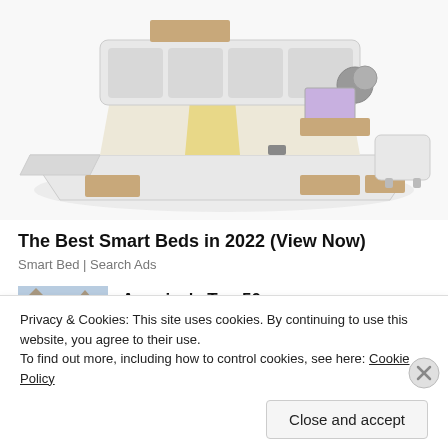[Figure (photo): Product photo of a white luxury smart bed with storage drawers, bookshelf headboard, speakers, laptop, and side ottomans on a white background.]
The Best Smart Beds in 2022 (View Now)
Smart Bed | Search Ads
[Figure (photo): Small thumbnail photo of a European-style building with towers, used as an ad image for America's Top 50.]
America's Top 50
Privacy & Cookies: This site uses cookies. By continuing to use this website, you agree to their use.
To find out more, including how to control cookies, see here: Cookie Policy
Close and accept